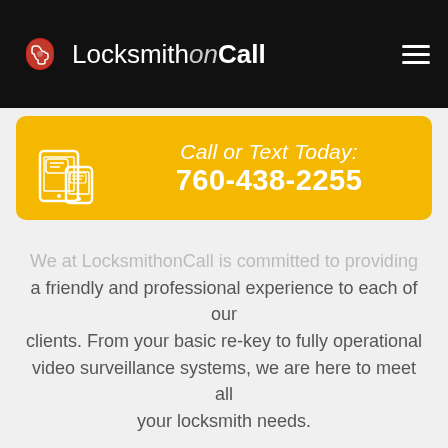LocksmithonCall
[Figure (infographic): Yellow call-to-action banner with phone/tablet icon on the left and text 'Call or Text Today: 760-438-2255' on the right]
We at LocksmithonCall is committed to providing a friendly and professional experience to each of our clients. From your basic re-key to fully operational video surveillance systems, we are here to meet all your locksmith needs.
[Figure (infographic): Yellow rounded button with envelope icon and 'Contact Us' text in white]